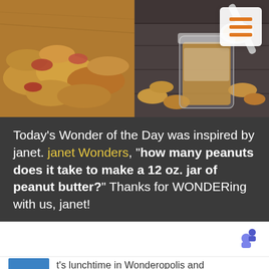[Figure (photo): Two photos side by side: left shows peanuts in shells and shelled peanuts on a wooden surface; right shows peanut butter in a jar with a spoon and peanuts on a dark wooden surface. A hamburger menu icon in white rounded rectangle overlaid on top-right.]
Today's Wonder of the Day was inspired by janet. janet Wonders, "how many peanuts does it take to make a 12 oz. jar of peanut butter?" Thanks for WONDERing with us, janet!
t's lunchtime in Wonderopolis and
68 SHARES